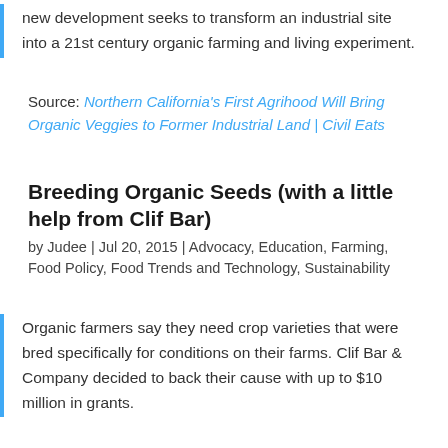new development seeks to transform an industrial site into a 21st century organic farming and living experiment.
Source: Northern California's First Agrihood Will Bring Organic Veggies to Former Industrial Land | Civil Eats
Breeding Organic Seeds (with a little help from Clif Bar)
by Judee | Jul 20, 2015 | Advocacy, Education, Farming, Food Policy, Food Trends and Technology, Sustainability
Organic farmers say they need crop varieties that were bred specifically for conditions on their farms. Clif Bar & Company decided to back their cause with up to $10 million in grants.
Source: Do Organic Farmers Need Special Seeds And